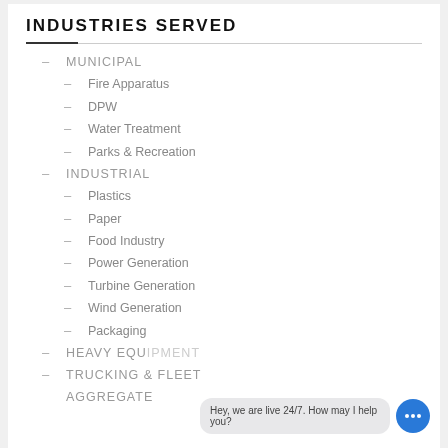INDUSTRIES SERVED
MUNICIPAL
Fire Apparatus
DPW
Water Treatment
Parks & Recreation
INDUSTRIAL
Plastics
Paper
Food Industry
Power Generation
Turbine Generation
Wind Generation
Packaging
HEAVY EQUIPMENT
TRUCKING & FLEET
AGGREGATE